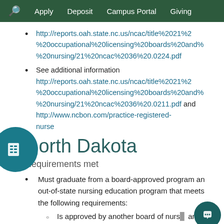Apply  Deposit  Campus Portal  Giving
http://reports.oah.state.nc.us/ncac/title%2021%2 %20occupational%20licensing%20boards%20and% %20nursing/21%20ncac%2036%20.0224.pdf
See additional information http://reports.oah.state.nc.us/ncac/title%2021%2 %20occupational%20licensing%20boards%20and% %20nursing/21%20ncac%2036%20.0211.pdf and http://www.ncbon.com/practice-registered-nurse
North Dakota
Requirements met
Must graduate from a board-approved program an out-of-state nursing education program that meets the following requirements:
Is approved by another board of nurs and
Includes supervised clinical experience